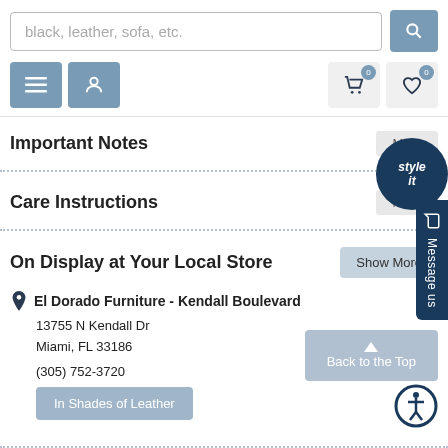[Figure (screenshot): Website navigation bar with search input field showing placeholder text 'black, leather, sofa, etc.' and a search button]
[Figure (screenshot): Navigation icon buttons: hamburger menu and user profile in blue, cart and wishlist in gray with 0 badges]
Important Notes
Care Instructions
On Display at Your Local Store
El Dorado Furniture - Kendall Boulevard
13755 N Kendall Dr
Miami, FL 33186
(305) 752-3720
In Shades of Leather